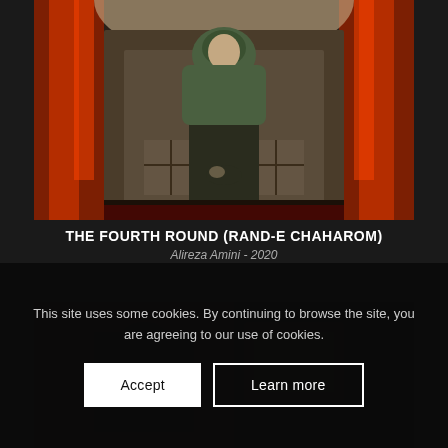[Figure (photo): A woman wearing a green hijab and dark coat stands in a corridor with red and orange curtains or fabric hanging on the sides. She looks downward. The setting appears to be a film still.]
THE FOURTH ROUND (RAND-E CHAHAROM)
Alireza Amini - 2020
[Figure (photo): A dark, partially visible film still showing silhouettes and low-light interior scene.]
This site uses some cookies. By continuing to browse the site, you are agreeing to our use of cookies.